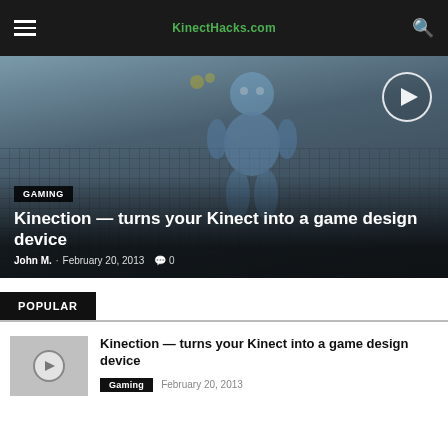KinectHacks.com
[Figure (screenshot): Hero image showing a blue 3D robot character on a dark textured grid background with a play button overlay in the top right corner]
GAMING
Kinection — turns your Kinect into a game design device
John M. - February 20, 2013  0
POPULAR
[Figure (screenshot): Small thumbnail with play button icon on gray background]
Kinection — turns your Kinect into a game design device
Gaming  February 20, 2013